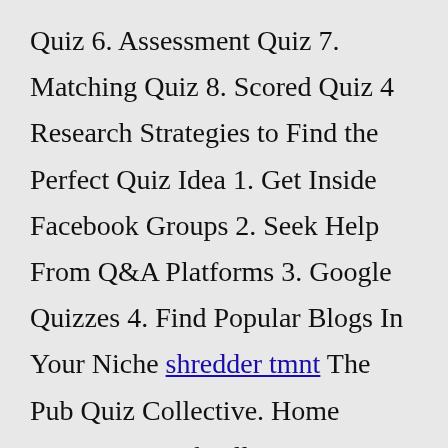Quiz 6. Assessment Quiz 7. Matching Quiz 8. Scored Quiz 4 Research Strategies to Find the Perfect Quiz Idea 1. Get Inside Facebook Groups 2. Seek Help From Q&A Platforms 3. Google Quizzes 4. Find Popular Blogs In Your Niche shredder tmnt The Pub Quiz Collective. Home categories Back All Categories Anagrams Connection Rounds Film & TV Food & Drink General Knowledge Geography History Music